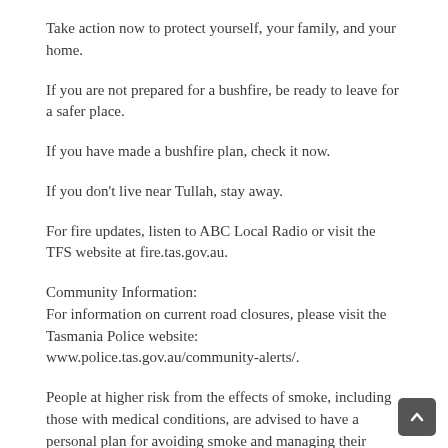Take action now to protect yourself, your family, and your home.
If you are not prepared for a bushfire, be ready to leave for a safer place.
If you have made a bushfire plan, check it now.
If you don't live near Tullah, stay away.
For fire updates, listen to ABC Local Radio or visit the TFS website at fire.tas.gov.au.
Community Information:
For information on current road closures, please visit the Tasmania Police website: www.police.tas.gov.au/community-alerts/.
People at higher risk from the effects of smoke, including those with medical conditions, are advised to have a personal plan for avoiding smoke and managing their health. Advice is available from the